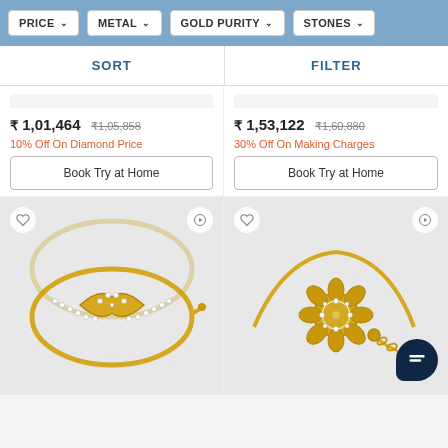PRICE | METAL | GOLD PURITY | STONES
SORT | FILTER
₹ 1,01,464  ₹1,05,858  10% Off On Diamond Price  Book Try at Home
₹ 1,53,122  ₹1,60,880  30% Off On Making Charges  Book Try at Home
[Figure (photo): Gold diamond bracelet with oval diamond-studded design, yellow gold]
[Figure (photo): Gold flower bracelet with diamond-studded flower centerpiece, yellow gold chain]